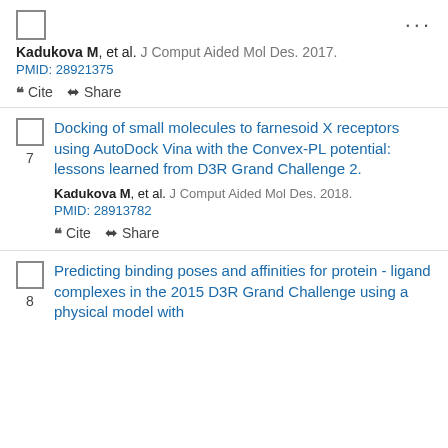checkbox and ellipsis menu header
Kadukova M, et al. J Comput Aided Mol Des. 2017. PMID: 28921375
Cite  Share
Docking of small molecules to farnesoid X receptors using AutoDock Vina with the Convex-PL potential: lessons learned from D3R Grand Challenge 2.
Kadukova M, et al. J Comput Aided Mol Des. 2018. PMID: 28913782
Cite  Share
Predicting binding poses and affinities for protein - ligand complexes in the 2015 D3R Grand Challenge using a physical model with